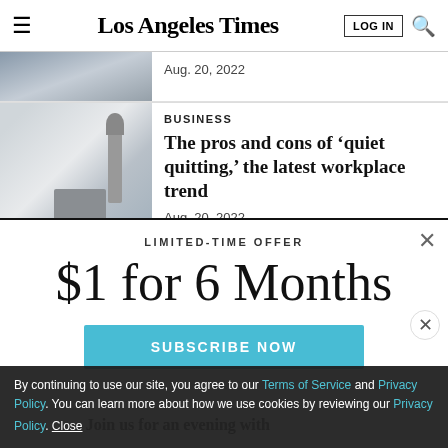Los Angeles Times
Aug. 20, 2022
BUSINESS
The pros and cons of 'quiet quitting,' the latest workplace trend
Aug. 20, 2022
LIMITED-TIME OFFER
$1 for 6 Months
SUBSCRIBE NOW
By continuing to use our site, you agree to our Terms of Service and Privacy Policy. You can learn more about how we use cookies by reviewing our Privacy Policy. Close
Join us for an evening with